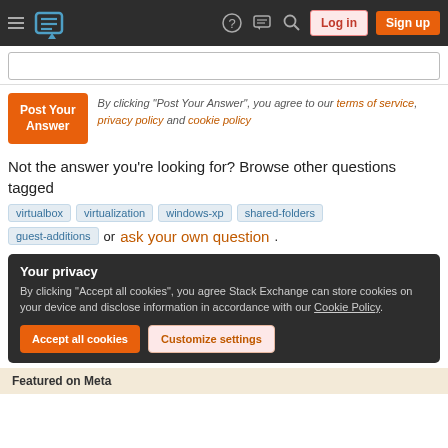Stack Exchange navigation bar with hamburger menu, logo, help, chat, search icons, Log in and Sign up buttons
Search box (empty input field)
Post Your Answer — By clicking "Post Your Answer", you agree to our terms of service, privacy policy and cookie policy
Not the answer you're looking for? Browse other questions tagged virtualbox virtualization windows-xp shared-folders guest-additions or ask your own question.
Your privacy
By clicking "Accept all cookies", you agree Stack Exchange can store cookies on your device and disclose information in accordance with our Cookie Policy.
Accept all cookies   Customize settings
Featured on Meta